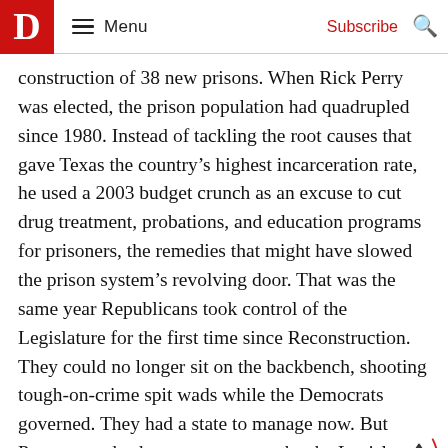D Menu Subscribe
construction of 38 new prisons. When Rick Perry was elected, the prison population had quadrupled since 1980. Instead of tackling the root causes that gave Texas the country's highest incarceration rate, he used a 2003 budget crunch as an excuse to cut drug treatment, probations, and education programs for prisoners, the remedies that might have slowed the prison system's revolving door. That was the same year Republicans took control of the Legislature for the first time since Reconstruction. They could no longer sit on the backbench, shooting tough-on-crime spit wads while the Democrats governed. They had a state to manage now. But Perry vetoed subsequ attempts by the Legislature to address the crisis.